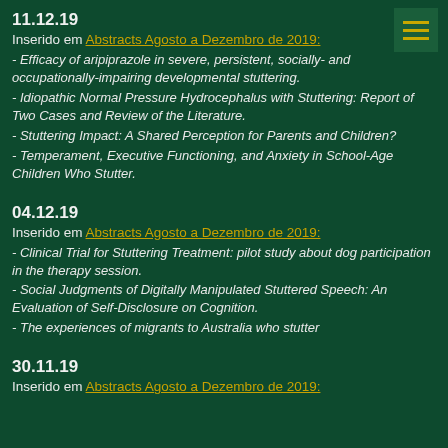11.12.19
Inserido em Abstracts Agosto a Dezembro de 2019:
- Efficacy of aripiprazole in severe, persistent, socially- and occupationally-impairing developmental stuttering.
- Idiopathic Normal Pressure Hydrocephalus with Stuttering: Report of Two Cases and Review of the Literature.
- Stuttering Impact: A Shared Perception for Parents and Children?
- Temperament, Executive Functioning, and Anxiety in School-Age Children Who Stutter.
04.12.19
Inserido em Abstracts Agosto a Dezembro de 2019:
- Clinical Trial for Stuttering Treatment: pilot study about dog participation in the therapy session.
- Social Judgments of Digitally Manipulated Stuttered Speech: An Evaluation of Self-Disclosure on Cognition.
- The experiences of migrants to Australia who stutter
30.11.19
Inserido em Abstracts Agosto a Dezembro de 2019: